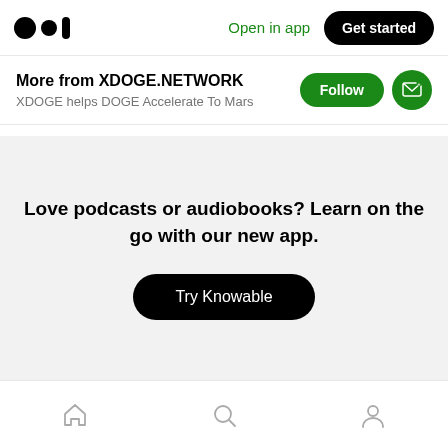Open in app | Get started
More from XDOGE.NETWORK
XDOGE helps DOGE Accelerate To Mars
Love podcasts or audiobooks? Learn on the go with our new app.
Try Knowable
Home | Search | Profile